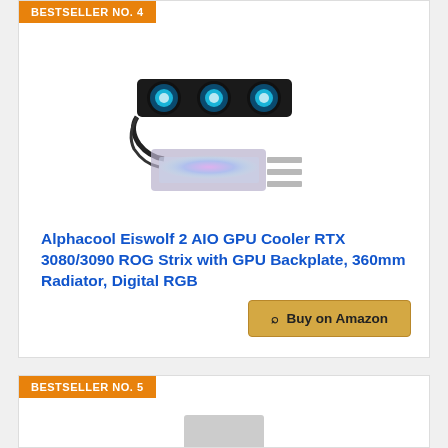BESTSELLER NO. 4
[Figure (photo): Alphacool Eiswolf 2 AIO GPU Cooler with 360mm radiator and three RGB fans, shown with GPU backplate]
Alphacool Eiswolf 2 AIO GPU Cooler RTX 3080/3090 ROG Strix with GPU Backplate, 360mm Radiator, Digital RGB
Buy on Amazon
BESTSELLER NO. 5